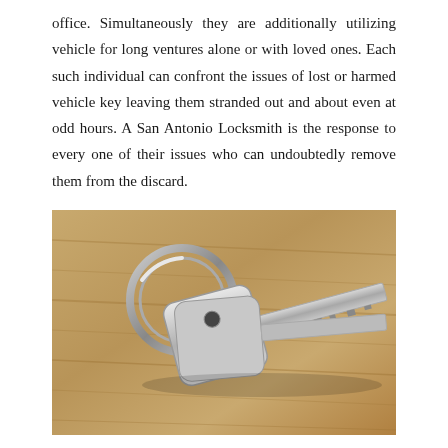office. Simultaneously they are additionally utilizing vehicle for long ventures alone or with loved ones. Each such individual can confront the issues of lost or harmed vehicle key leaving them stranded out and about even at odd hours. A San Antonio Locksmith is the response to every one of their issues who can undoubtedly remove them from the discard.
[Figure (photo): A set of silver keys on a key ring, including a square-headed IKON branded key, lying on a wooden surface.]